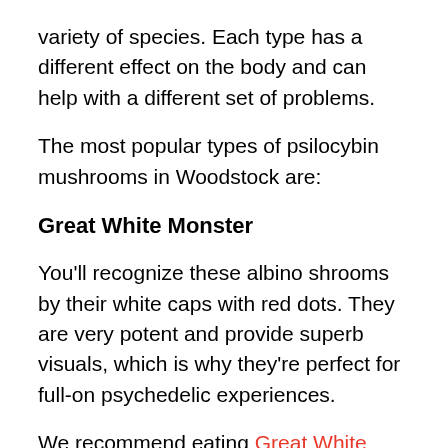variety of species. Each type has a different effect on the body and can help with a different set of problems.
The most popular types of psilocybin mushrooms in Woodstock are:
Great White Monster
You'll recognize these albino shrooms by their white caps with red dots. They are very potent and provide superb visuals, which is why they're perfect for full-on psychedelic experiences.
We recommend eating Great White Monster